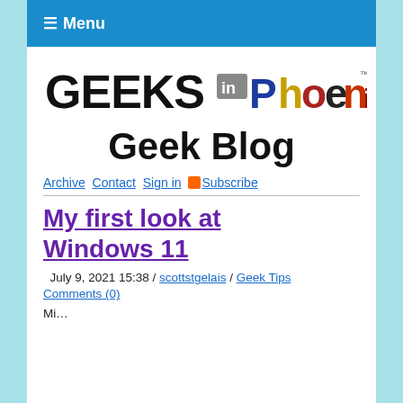≡ Menu
[Figure (logo): Geeks in Phoenix logo with stylized colorful text]
Geek Blog
Archive Contact Sign in Subscribe
My first look at Windows 11
July 9, 2021 15:38 / scottstgelais / Geek Tips
Comments (0)
Mi...